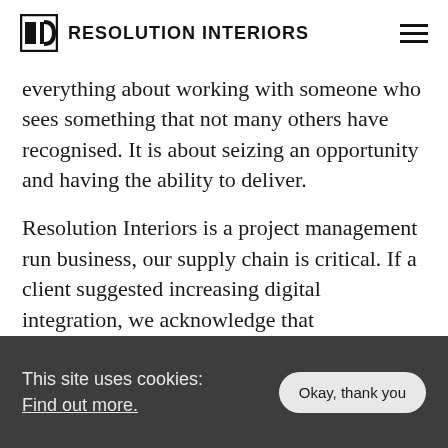RESOLUTION INTERIORS
everything about working with someone who sees something that not many others have recognised. It is about seizing an opportunity and having the ability to deliver.
Resolution Interiors is a project management run business, our supply chain is critical. If a client suggested increasing digital integration, we acknowledge that
This site uses cookies: Find out more.
Okay, thank you